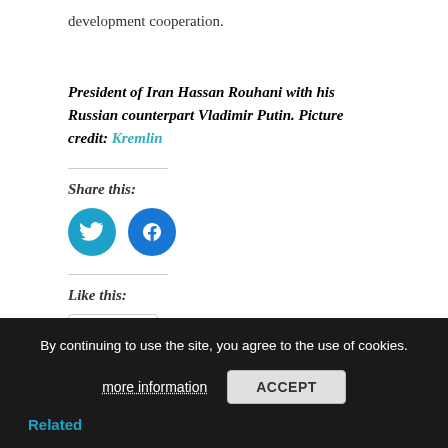development cooperation.
President of Iran Hassan Rouhani with his Russian counterpart Vladimir Putin. Picture credit: Kremlin
Share this:
[Figure (illustration): Twitter and Facebook social share icon buttons (circular, colored)]
Like this:
[Figure (illustration): WordPress Like button widget with star icon and Like text]
Be the first to like this.
By continuing to use the site, you agree to the use of cookies.
more information   ACCEPT
Related